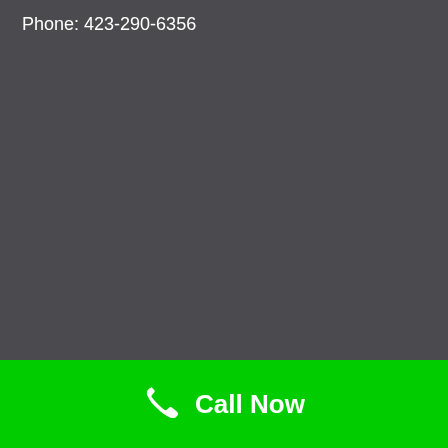Phone: 423-290-6356
[Figure (screenshot): Dark gray background, mostly empty]
Call Now